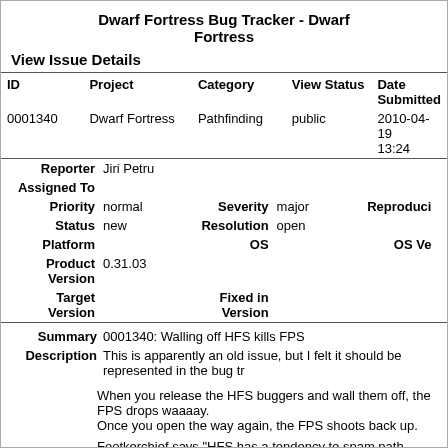Dwarf Fortress Bug Tracker - Dwarf Fortress
View Issue Details
| ID | Project | Category | View Status | Date Submitted |
| --- | --- | --- | --- | --- |
| 0001340 | Dwarf Fortress | Pathfinding | public | 2010-04-19 13:24 |
| Reporter | Assigned To | Priority | Severity | Reproducibility | Status | Resolution | Platform | OS | OS Version | Product Version | Target Version | Fixed in Version |
| --- | --- | --- | --- | --- | --- | --- | --- | --- | --- | --- | --- | --- |
| Jiri Petru |  | normal | major |  | new | open |  |  |  | 0.31.03 |  |  |
Summary   0001340: Walling off HFS kills FPS
Description   This is apparently an old issue, but I felt it should be represented in the bug tr...
When you release the HFS buggers and wall them off, the FPS drops waaaay... Once you open the way again, the FPS shoots back up.
Footkerchief says "HFS has a tendency to spam path requests like crazy, eve... wall them off -- that's a bug that goes back to 40d and earlier," and links to se... bug reports back on the forums, here: http://www.bay12games.com/forum/ind... topic=34311.msg1180616#msg1180616 [^]